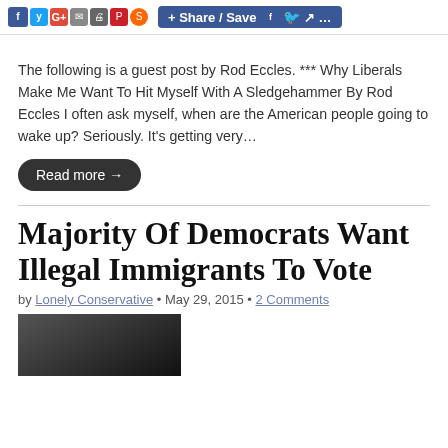[Figure (screenshot): Social sharing toolbar with icons for Facebook, Twitter, Google+, Email, Print, Pinterest, and a Share/Save button with additional social icons]
The following is a guest post by Rod Eccles. *** Why Liberals Make Me Want To Hit Myself With A Sledgehammer By Rod Eccles I often ask myself, when are the American people going to wake up?  Seriously.  It's getting  very…
Read more →
Majority Of Democrats Want Illegal Immigrants To Vote
by Lonely Conservative • May 29, 2015 • 2 Comments
[Figure (photo): Thumbnail image, dark/black image at the bottom of the page]